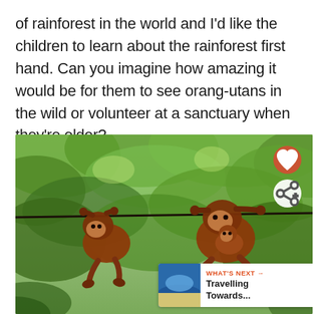of rainforest in the world and I'd like the children to learn about the rainforest first hand. Can you imagine how amazing it would be for them to see orang-utans in the wild or volunteer at a sanctuary when they're older?
[Figure (photo): Two young orang-utans hanging from a rope or wire in a lush green rainforest setting. One is on the left, one on the right with a baby clinging to it. There are social media buttons (heart/like and share) overlaid on the right side, and a 'What's Next' content recommendation banner in the bottom right showing a thumbnail image and text 'Travelling Towards...']